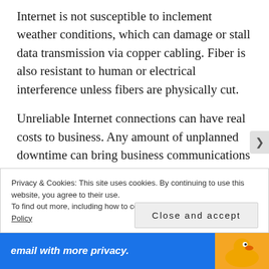Internet is not susceptible to inclement weather conditions, which can damage or stall data transmission via copper cabling. Fiber is also resistant to human or electrical interference unless fibers are physically cut.
Unreliable Internet connections can have real costs to business. Any amount of unplanned downtime can bring business communications and productivity to complete stop. If your company requires an Internet connection to make phone calls or access applications, reliability is a necessity.
Privacy & Cookies: This site uses cookies. By continuing to use this website, you agree to their use.
To find out more, including how to control cookies, see here: Cookie Policy
Close and accept
email with more privacy.